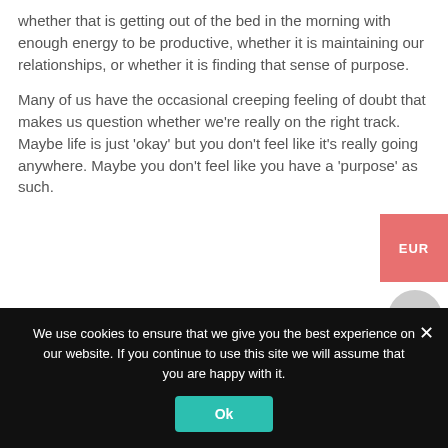whether that is getting out of the bed in the morning with enough energy to be productive, whether it is maintaining our relationships, or whether it is finding that sense of purpose.
Many of us have the occasional creeping feeling of doubt that makes us question whether we're really on the right track. Maybe life is just 'okay' but you don't feel like it's really going anywhere. Maybe you don't feel like you have a 'purpose' as such.
[Figure (other): EUR currency button (coral/salmon colored rectangle) and a gray circular plus button, both positioned on the right side of the page]
We use cookies to ensure that we give you the best experience on our website. If you continue to use this site we will assume that you are happy with it.
Ok